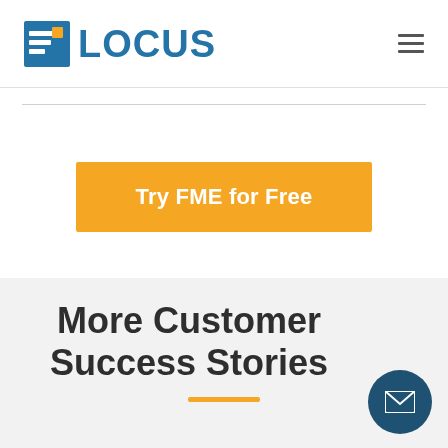[Figure (logo): Locus logo with blue square icon and blue LOCUS text]
Try FME for Free
More Customer Success Stories